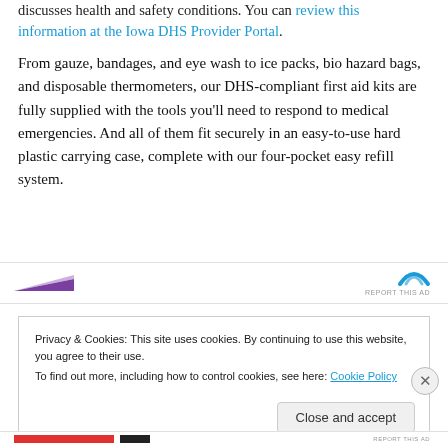discusses health and safety conditions. You can review this information at the Iowa DHS Provider Portal.
From gauze, bandages, and eye wash to ice packs, bio hazard bags, and disposable thermometers, our DHS-compliant first aid kits are fully supplied with the tools you'll need to respond to medical emergencies. And all of them fit securely in an easy-to-use hard plastic carrying case, complete with our four-pocket easy refill system.
[Figure (other): Advertisement banner with purple triangle logo on left and blue arc logo on right, with REPORT THIS AD text]
Privacy & Cookies: This site uses cookies. By continuing to use this website, you agree to their use.
To find out more, including how to control cookies, see here: Cookie Policy
Close and accept
[Figure (other): Advertisement banner at bottom with red and black stripes and REPORT THIS AD text]